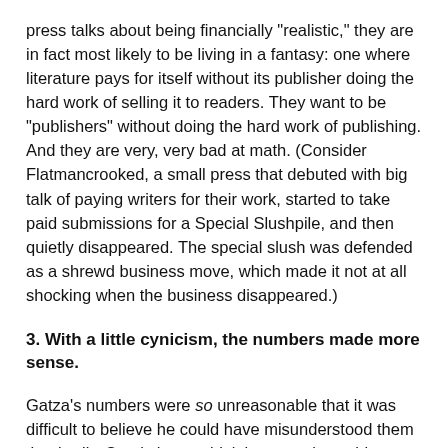press talks about being financially "realistic," they are in fact most likely to be living in a fantasy: one where literature pays for itself without its publisher doing the hard work of selling it to readers. They want to be "publishers" without doing the hard work of publishing. And they are very, very bad at math. (Consider Flatmancrooked, a small press that debuted with big talk of paying writers for their work, started to take paid submissions for a Special Slushpile, and then quietly disappeared. The special slush was defended as a shrewd business move, which made it not at all shocking when the business disappeared.)
3. With a little cynicism, the numbers made more sense.
Gatza's numbers were so unreasonable that it was difficult to believe he could have misunderstood them that badly. Surely he wouldn't be secretly pushing a deal that was actually financially injurious to him and his press. And, indeed, it appears highly likely that he wasn't.
Consider this: BlazeVOX has very few expenses. They use the online print-on-demand service CreateSpace, which